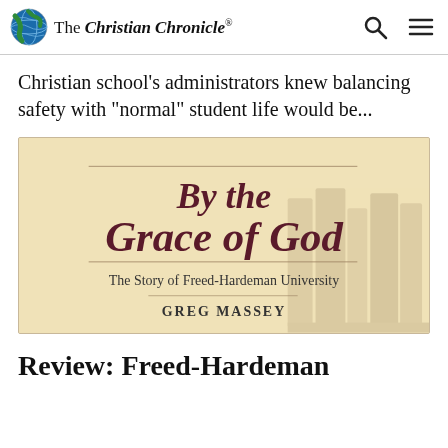The Christian Chronicle
Christian school’s administrators knew balancing safety with “normal” student life would be...
[Figure (illustration): Book cover image for 'By the Grace of God: The Story of Freed-Hardeman University' by Greg Massey. Tan/cream background with dark red italic title text and a faded background image of books.]
Review: Freed-Hardeman